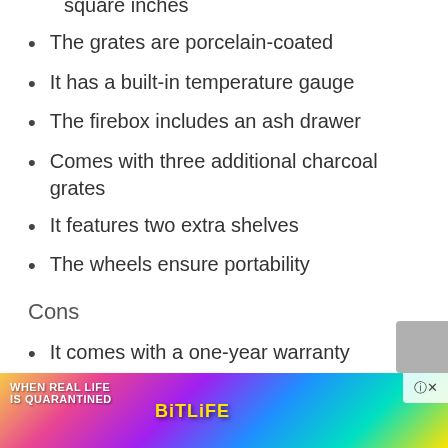square inches
The grates are porcelain-coated
It has a built-in temperature gauge
The firebox includes an ash drawer
Comes with three additional charcoal grates
It features two extra shelves
The wheels ensure portability
Cons
It comes with a one-year warranty
BBQ Grill Charcoal Barbecue Patio Backyard Home Meat
Co
Ex
[Figure (illustration): Advertisement banner for BitLife game showing colorful rainbow gradient background with text 'WHEN REAL LIFE IS QUARANTINED' and 'BiTLiFE' logo with emoji characters, close button in top right corner]